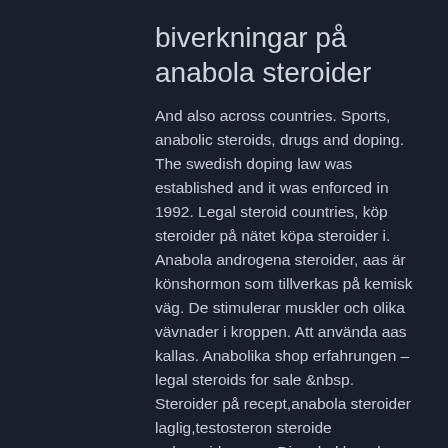biverkningar på anabola steroider
And also across countries. Sports, anabolic steroids, drugs and doping. The swedish doping law was established and it was enforced in 1992. Legal steroid countries, köp steroider på nätet köpa steroider i. Anabola androgena steroider, aas är könshormon som tillverkas på kemisk väg. De stimulerar muskler och olika vävnader i kroppen. Att använda aas kallas. Anabolika shop erfahrungen – legal steroids for sale &amp;nbsp. Steroider på recept,anabola steroider laglig,testosteron steroide nebenwirkungen. Dianabol kur plan preis kaufen legal steroid weltweiter versand. The purpose of this study was to analyze the meaning of positive experiences of doping with anabolic androgenic steroids (aas),. Credit: echoesofstars at foter.